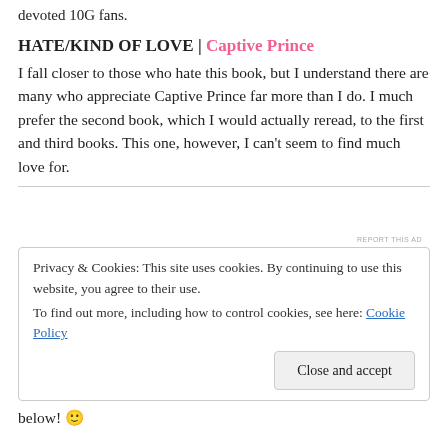devoted 10G fans.
HATE/KIND OF LOVE | Captive Prince
I fall closer to those who hate this book, but I understand there are many who appreciate Captive Prince far more than I do. I much prefer the second book, which I would actually reread, to the first and third books. This one, however, I can't seem to find much love for.
REPORT THIS AD
Privacy & Cookies: This site uses cookies. By continuing to use this website, you agree to their use.
To find out more, including how to control cookies, see here: Cookie Policy
Close and accept
below! 🙂